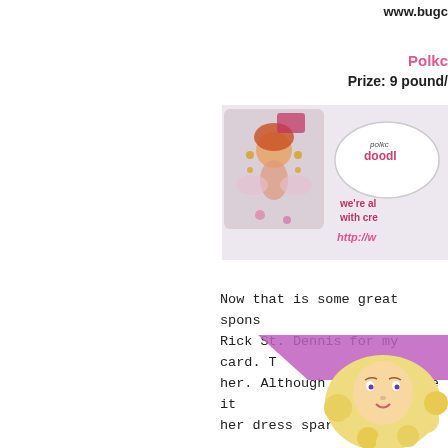www.bugc
Polkc
Prize: 9 pound/
[Figure (photo): Polka Doodles sponsor image showing a crafting card with a fairy/girl character and polka doodles branding, text 'we're al with cre http://w']
Now that is some great spons Rick St. Dennis for my card. T her. Although you can't see it her dress sparkles as well
[Figure (illustration): Pink/purple triangular ribbon shape at bottom right]
[Figure (illustration): Blonde curly-haired doll illustration at bottom right corner]